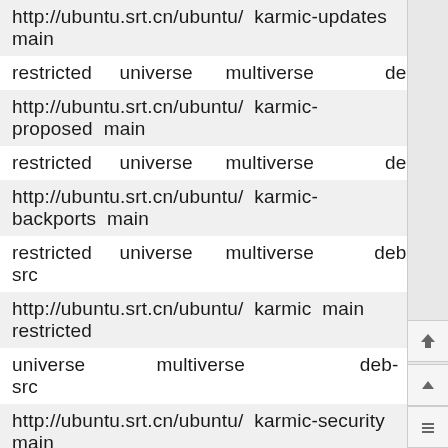http://ubuntu.srt.cn/ubuntu/  karmic-updates  main
restricted      universe       multiverse               deb
http://ubuntu.srt.cn/ubuntu/  karmic-proposed  main
restricted      universe       multiverse               deb
http://ubuntu.srt.cn/ubuntu/  karmic-backports  main
restricted      universe       multiverse           deb-src
http://ubuntu.srt.cn/ubuntu/  karmic  main  restricted
universe               multiverse                       deb-src
http://ubuntu.srt.cn/ubuntu/  karmic-security  main
restricted      universe       multiverse           deb-src
http://ubuntu.srt.cn/ubuntu/  karmic-updates  main
restricted      universe       multiverse           deb-src
http://ubuntu.srt.cn/ubuntu/  karmic-proposed  main
restricted      universe       multiverse           deb-src
http://ubuntu.srt.cn/ubuntu/  karmic-backports  main